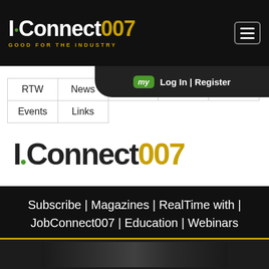I-Connect007 — GOOD FOR THE INDUSTRY
my   Log In  |  Register
| RTW | News | eBooks | Articles | Columns |
| Events | Links |  |  |  |
[Figure (logo): I-Connect007 logo with green dot, black I-Connect text and gold 007]
Subscribe | Magazines | RealTime with | JobConnect007 | Education | Webinars
[Figure (photo): Partial photo visible at bottom of page, dark background]